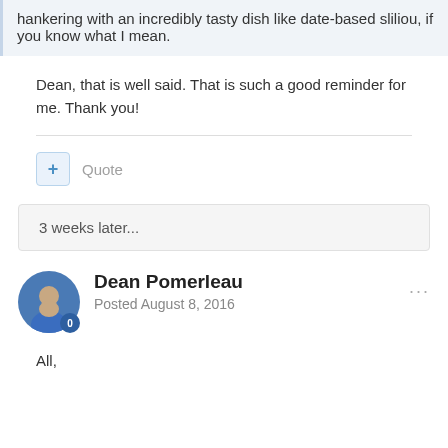hankering with an incredibly tasty dish like date-based sliliou, if you know what I mean.
Dean, that is well said. That is such a good reminder for me. Thank you!
Quote
3 weeks later...
Dean Pomerleau
Posted August 8, 2016
All,